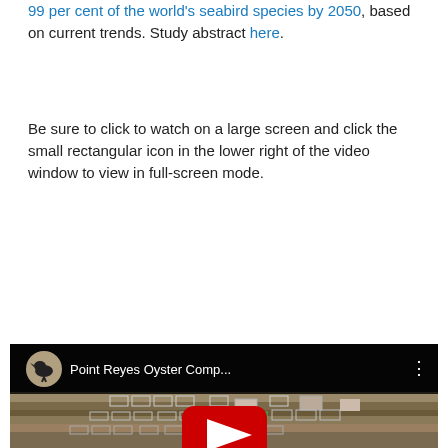99 per cent of the world's seabird species by 2050, based on current trends. Study abstract here.
Be sure to click to watch on a large screen and click the small rectangular icon in the lower right of the video window to view in full-screen mode.
[Figure (screenshot): YouTube video embed thumbnail showing an aerial view of Point Reyes Oyster Company farm with a YouTube play button overlay and a crow avatar in the top bar.]